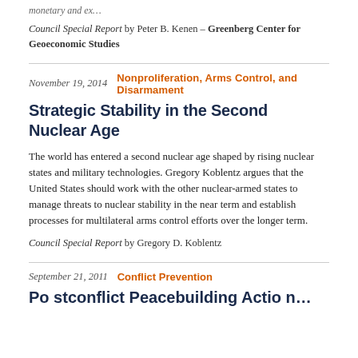monetary and ex...
Council Special Report by Peter B. Kenen – Greenberg Center for Geoeconomic Studies
November 19, 2014   Nonproliferation, Arms Control, and Disarmament
Strategic Stability in the Second Nuclear Age
The world has entered a second nuclear age shaped by rising nuclear states and military technologies. Gregory Koblentz argues that the United States should work with the other nuclear-armed states to manage threats to nuclear stability in the near term and establish processes for multilateral arms control efforts over the longer term.
Council Special Report by Gregory D. Koblentz
September 21, 2011   Conflict Prevention
Postconflict Peacebuilding Action...